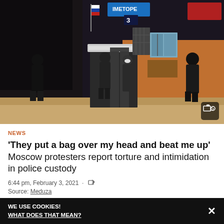[Figure (photo): Night-time photo of people standing near a snow-covered bus stop/checkpoint outside a building in Moscow. Several figures in dark winter clothing are visible. Snow on the ground. Background shows an orange building with windows, signs, and what appears to be a checkpoint structure.]
NEWS
'They put a bag over my head and beat me up' Moscow protesters report torture and intimidation in police custody
6:44 pm, February 3, 2021 ·
Source: Meduza
WE USE COOKIES!
WHAT DOES THAT MEAN?